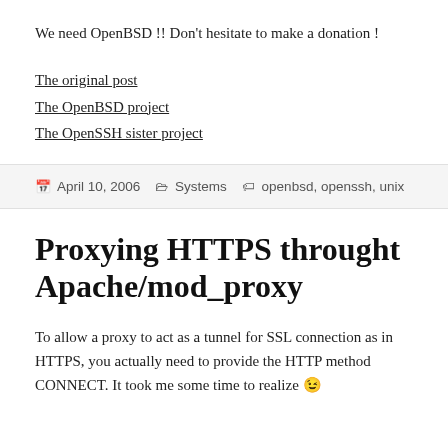We need OpenBSD !! Don't hesitate to make a donation !
The original post
The OpenBSD project
The OpenSSH sister project
April 10, 2006   Systems   openbsd, openssh, unix
Proxying HTTPS throught Apache/mod_proxy
To allow a proxy to act as a tunnel for SSL connection as in HTTPS, you actually need to provide the HTTP method CONNECT. It took me some time to realize 😉